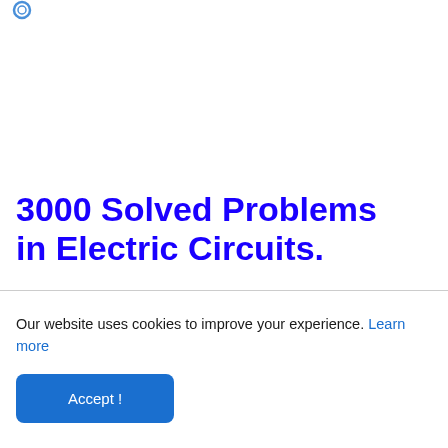3000 Solved Problems in Electric Circuits.
Our website uses cookies to improve your experience. Learn more
Accept !